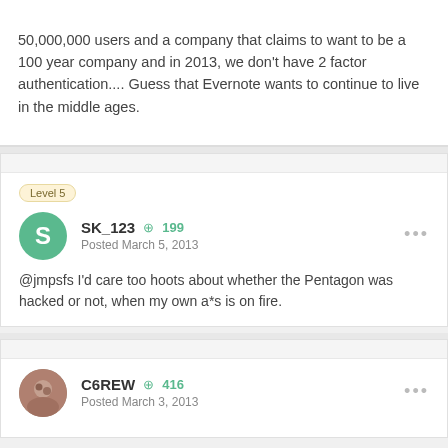50,000,000 users and a company that claims to want to be a 100 year company and in 2013, we don't have 2 factor authentication.... Guess that Evernote wants to continue to live in the middle ages.
Level 5
SK_123  +199
Posted March 5, 2013
@jmpsfs I'd care too hoots about whether the Pentagon was hacked or not, when my own a*s is on fire.
C6REW  +416
Posted March 3, 2013